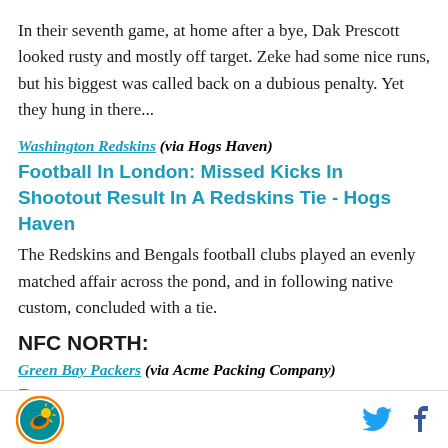In their seventh game, at home after a bye, Dak Prescott looked rusty and mostly off target. Zeke had some nice runs, but his biggest was called back on a dubious penalty. Yet they hung in there...
Washington Redskins (via Hogs Haven)
Football In London: Missed Kicks In Shootout Result In A Redskins Tie - Hogs Haven
The Redskins and Bengals football clubs played an evenly matched affair across the pond, and in following native custom, concluded with a tie.
NFC NORTH:
Green Bay Packers (via Acme Packing Company)
[partially visible article title]